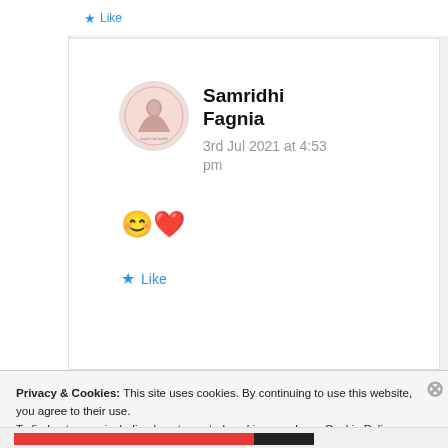Like
Samridhi Fagnia
3rd Jul 2021 at 4:53 pm
😊❤️
Like
Privacy & Cookies: This site uses cookies. By continuing to use this website, you agree to their use.
To find out more, including how to control cookies, see here: Cookie Policy
Close and accept